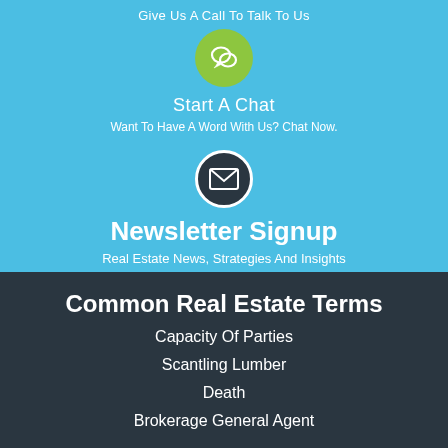Give Us A Call To Talk To Us
[Figure (illustration): Green circle with white chat/speech bubble icon]
Start A Chat
Want To Have A Word With Us? Chat Now.
[Figure (illustration): Dark circle with white envelope/mail icon]
Newsletter Signup
Real Estate News, Strategies And Insights
Common Real Estate Terms
Capacity Of Parties
Scantling Lumber
Death
Brokerage General Agent